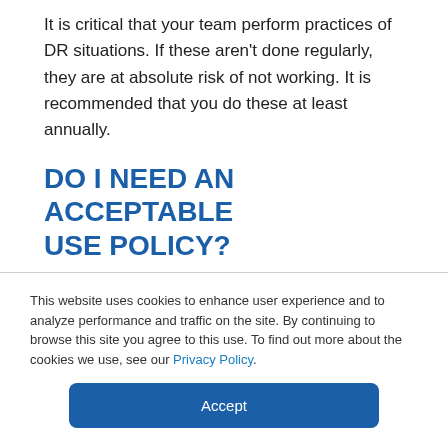It is critical that your team perform practices of DR situations. If these aren't done regularly, they are at absolute risk of not working. It is recommended that you do these at least annually.
DO I NEED AN ACCEPTABLE USE POLICY?
This actually isn't an IT question, but every IT person should be making sure you have one. You
This website uses cookies to enhance user experience and to analyze performance and traffic on the site. By continuing to browse this site you agree to this use. To find out more about the cookies we use, see our Privacy Policy.